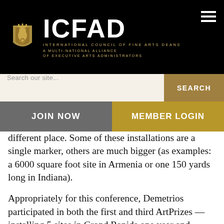[Figure (logo): ICFAD logo with golden heraldic emblem, large ICFAD wordmark in white, subtitle 'INTERNATIONAL COUNCIL OF FINE ARTS DEANS' and tagline 'A MULTI-NATIONAL ALLIANCE OF EXECUTIVE ARTS ADMINISTRATORS' on black background with hamburger menu icon]
Search our site...
SEARCH
JOIN NOW
MEMBER LOGIN
different place. Some of these installations are a single marker, others are much bigger (as examples: a 6000 square foot site in Armenia or one 150 yards long in Indiana).
Appropriately for this conference, Demetrios participated in both the first and third ArtPrizes —installing 5 sites in Grand Rapids one year and